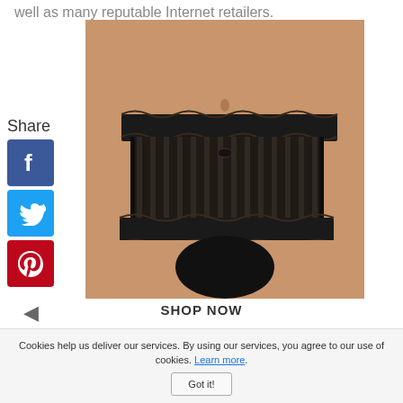well as many reputable Internet retailers.
[Figure (photo): Product photo of black lace lingerie boyshort/brief with sheer striped mesh fabric and scalloped lace trim on waistband and leg openings, worn by a model]
Share
[Figure (logo): Facebook share button icon — blue square with white 'f' logo]
[Figure (logo): Twitter share button icon — blue square with white bird logo]
[Figure (logo): Pinterest share button icon — red square with white 'P' logo]
◄
SHOP NOW
Cookies help us deliver our services. By using our services, you agree to our use of cookies. Learn more. Got it!